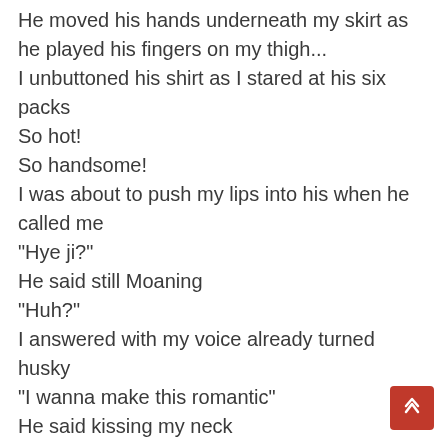He moved his hands underneath my skirt as he played his fingers on my thigh...
I unbuttoned his shirt as I stared at his six packs
So hot!
So handsome!
I was about to push my lips into his when he called me
"Hye ji?"
He said still Moaning
"Huh?"
I answered with my voice already turned husky
"I wanna make this romantic"
He said kissing my neck
"You can"
"I wanna make this passionate"
"Go ahead!"
I said to him
"The problem is I can't do anything here"
He said as I turned to face him
"That's true! Your office"
I said smiling
He stood up as he buttoned up his shirt